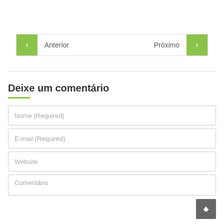[Figure (other): Navigation bar with green left arrow button labeled 'Anterior' and green right arrow button labeled 'Próximo']
Deixe um comentário
Nome (Required)
E-mail (Required)
Website
Comentário